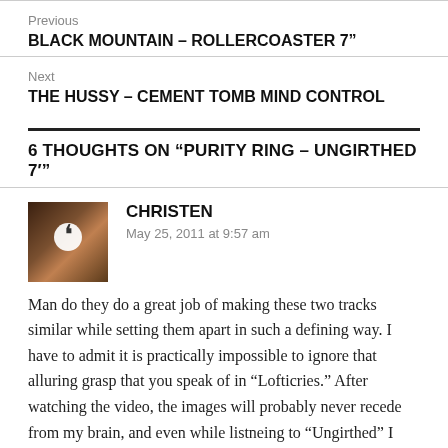Previous
BLACK MOUNTAIN – ROLLERCOASTER 7”
Next
THE HUSSY – CEMENT TOMB MIND CONTROL
6 THOUGHTS ON “PURITY RING – UNGIRTHED 7’”
CHRISTEN
May 25, 2011 at 9:57 am
Man do they do a great job of making these two tracks similar while setting them apart in such a defining way. I have to admit it is practically impossible to ignore that alluring grasp that you speak of in “Lofticries.” After watching the video, the images will probably never recede from my brain, and even while listneing to “Ungirthed” I find myself picturing the dismal and